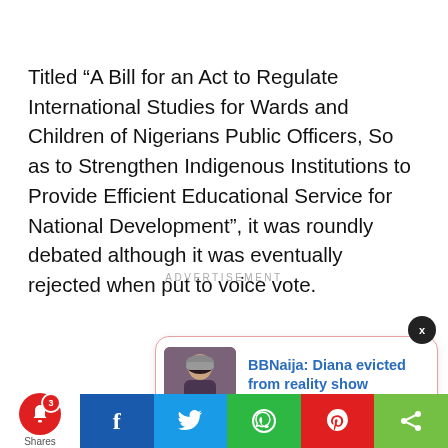Titled “A Bill for an Act to Regulate International Studies for Wards and Children of Nigerians Public Officers, So as to Strengthen Indigenous Institutions to Provide Efficient Educational Service for National Development”, it was roundly debated although it was eventually rejected when put to voice vote.
ADVERTISEMENT
[Figure (screenshot): Notification popup card showing a thumbnail image of a woman with text: BBNaija: Diana evicted from reality show, 6 hours ago]
[Figure (infographic): Bottom social share bar with notification bell (3 unread), Facebook, Twitter, WhatsApp, Pinterest, and share buttons]